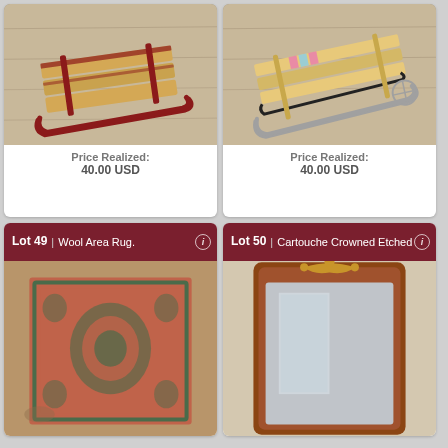[Figure (photo): Wooden sled with red metal runners on light floor background]
Price Realized: 40.00 USD
[Figure (photo): Wooden snow sled with metal runners on light floor background]
Price Realized: 40.00 USD
Lot 49 | Wool Area Rug.
[Figure (photo): Wool area rug with ornate red and teal pattern on wood floor]
Lot 50 | Cartouche Crowned Etched
[Figure (photo): Ornate wooden framed mirror with carved crown detail]